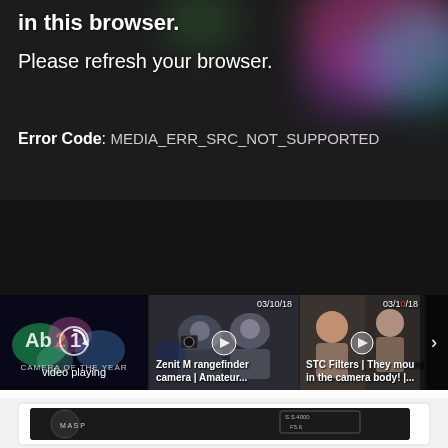[Figure (screenshot): Video player error screen with colorful blurred bokeh background showing text: 'in this browser.' and 'Please refresh your browser.' and 'Error Code: MEDIA_ERR_SRC_NOT_SUPPORTED']
in this browser.
Please refresh your browser.
Error Code: MEDIA_ERR_SRC_NOT_SUPPORTED
[Figure (screenshot): Video thumbnail strip with three items: current video playing (Awards video with 'video playing' label and camera of the year text), Zenit M rangefinder camera | Amateur... (dated 03/10/18), STC Filters | They mount in the camera body! |... (dated 03/10/18), and a right arrow nav]
[Figure (photo): Top-down view of a black digital camera showing control dials, LCD screen displaying S.S. 4000 F5.6, control buttons including ISO and WB, and mode dial]